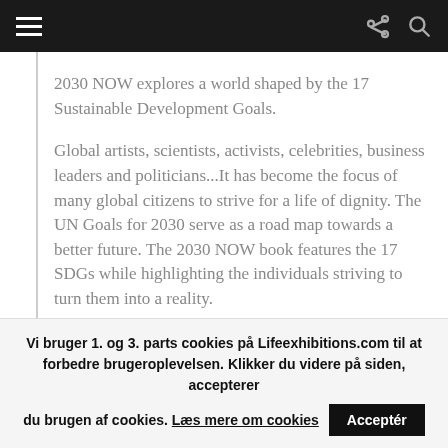Navigation bar with hamburger menu, share icon, and search icon
2030 NOW explores a world shaped by the 17 Sustainable Development Goals.
Global artists, scientists, activists, celebrities, business leaders and politicians...It has become the focus of many global citizens to strive for a life of dignity. The UN Goals for 2030 serve as a road map towards a better future. The 2030 NOW book features the 17 SDGs while highlighting the individuals striving to turn them into a reality.
Vi bruger 1. og 3. parts cookies på Lifeexhibitions.com til at forbedre brugeroplevelsen. Klikker du videre på siden, accepterer du brugen af cookies. Læs mere om cookies  Acceptér